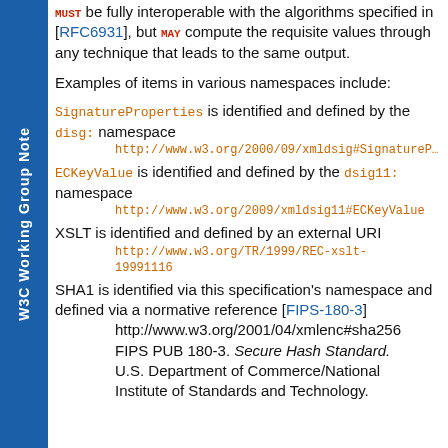MUST be fully interoperable with the algorithms specified in [RFC6931], but MAY compute the requisite values through any technique that leads to the same output.
Examples of items in various namespaces include:
SignatureProperties is identified and defined by the disg: namespace http://www.w3.org/2000/09/xmldsig#SignatureP...
ECKeyValue is identified and defined by the dsig11: namespace http://www.w3.org/2009/xmldsig11#ECKeyValue
XSLT is identified and defined by an external URI http://www.w3.org/TR/1999/REC-xslt-19991116
SHA1 is identified via this specification's namespace and defined via a normative reference [FIPS-180-3] http://www.w3.org/2001/04/xmlenc#sha256 FIPS PUB 180-3. Secure Hash Standard. U.S. Department of Commerce/National Institute of Standards and Technology.